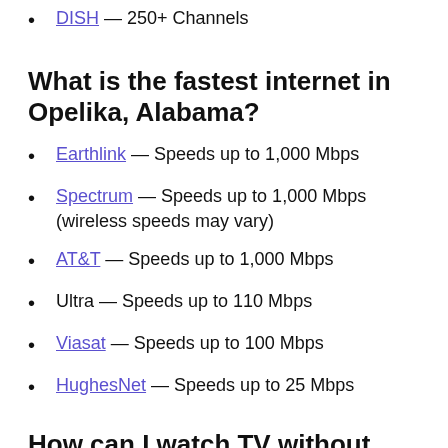DISH — 250+ Channels
What is the fastest internet in Opelika, Alabama?
Earthlink — Speeds up to 1,000 Mbps
Spectrum — Speeds up to 1,000 Mbps (wireless speeds may vary)
AT&T — Speeds up to 1,000 Mbps
Ultra — Speeds up to 110 Mbps
Viasat — Speeds up to 100 Mbps
HughesNet — Speeds up to 25 Mbps
How can I watch TV without cable?